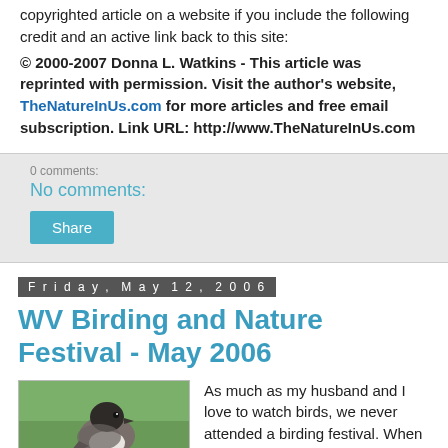copyrighted article on a website if you include the following credit and an active link back to this site:
© 2000-2007 Donna L. Watkins - This article was reprinted with permission. Visit the author's website, TheNatureInUs.com for more articles and free email subscription. Link URL: http://www.TheNatureInUs.com
No comments:
Share
Friday, May 12, 2006
WV Birding and Nature Festival - May 2006
[Figure (photo): Photo of a small bird (Eastern Phoebe or similar flycatcher) perched, facing right, with gray-brown plumage and white underparts, on a green background.]
As much as my husband and I love to watch birds, we never attended a birding festival. When I read that West Virginia was having a Birding and Nature Festival it sounded like